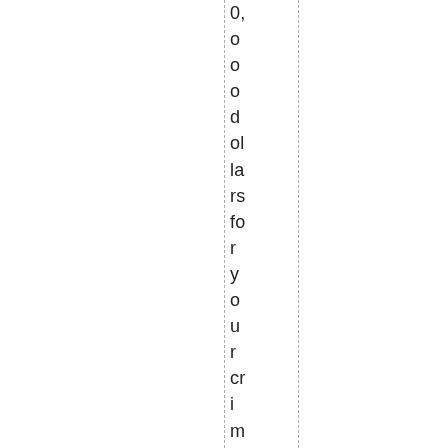0,ooodollars for your crime and murd